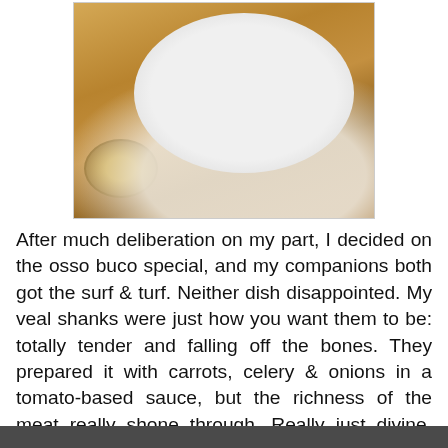[Figure (photo): A photo of osso buco dish on a white plate with a small bowl of sauce, golden-brown braised veal shank visible]
After much deliberation on my part, I decided on the osso buco special, and my companions both got the surf & turf. Neither dish disappointed. My veal shanks were just how you want them to be: totally tender and falling off the bones. They prepared it with carrots, celery & onions in a tomato-based sauce, but the richness of the meat really shone through. Really just divine. The perfectly round ball of mashed potatoes struck me as sort of funny, given the sort of "floppiness" of the meat, but they were a fine accompaniment. My companions' steak was cooked to a perfect medium rare, and given they both cleaned their plates, I'd say they were happy too. The Argentinian red wine we picked, the Cava de Weinert Carrascal blend of Malbec, Merlot, and Cab, was a great wine for all of our dishes.
[Figure (photo): Partial photo visible at bottom of page, appears to be another food/restaurant image]